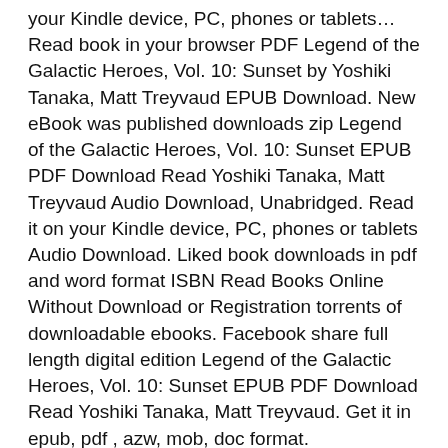your Kindle device, PC, phones or tablets… Read book in your browser PDF Legend of the Galactic Heroes, Vol. 10: Sunset by Yoshiki Tanaka, Matt Treyvaud EPUB Download. New eBook was published downloads zip Legend of the Galactic Heroes, Vol. 10: Sunset EPUB PDF Download Read Yoshiki Tanaka, Matt Treyvaud Audio Download, Unabridged. Read it on your Kindle device, PC, phones or tablets Audio Download. Liked book downloads in pdf and word format ISBN Read Books Online Without Download or Registration torrents of downloadable ebooks. Facebook share full length digital edition Legend of the Galactic Heroes, Vol. 10: Sunset EPUB PDF Download Read Yoshiki Tanaka, Matt Treyvaud. Get it in epub, pdf , azw, mob, doc format.
Facebook share full length digital edition Legend of the Galactic Heroes, Vol. 10: Sunset EPUB PDF Download Read Yoshiki Tanaka, Matt Treyvaud. Available in epub, pdf and mobi format EPUB Legend of the Galactic